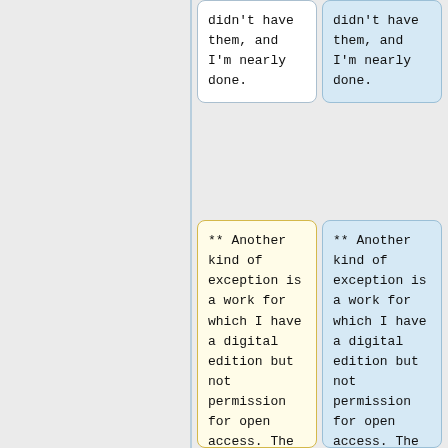didn't have them, and I'm nearly done.
didn't have them, and I'm nearly done.
** Another kind of exception is a work for which I have a digital edition but not permission for open access. The only exception of this kind is [http://www.earlham.edu/~peters/writ
** Another kind of exception is a work for which I have a digital edition but not permission for open access. The only exception of this kind is [http://www.earlham.edu/~peters/writ